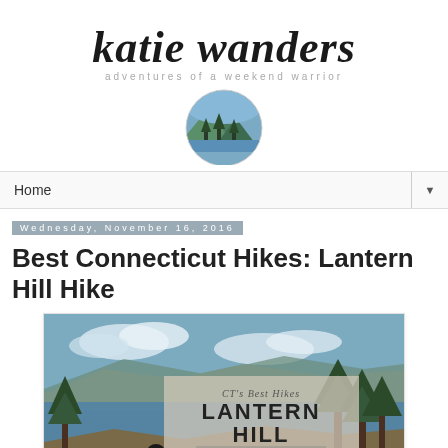[Figure (logo): Katie Wanders blog logo with handwritten-style text 'katie wanders', tagline 'adventures of a weekend warrior', and a circular mountain/lake illustration]
Home
Wednesday, November 16, 2016
Best Connecticut Hikes: Lantern Hill Hike
[Figure (photo): Promotional photo for Lantern Hill hike in North Stonington, Connecticut. Shows a dog on rocky overlook with pine trees and a lake/reservoir in the background. Overlaid text reads: CT's Best Hikes | LANTERN HILL | North Stonington, Connecticut]